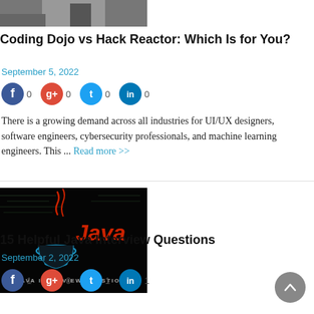[Figure (photo): Cropped photo of a person, partially visible at top of page]
Coding Dojo vs Hack Reactor: Which Is for You?
September 5, 2022
[Figure (infographic): Social sharing icons row: Facebook (0), Google+ (0), Twitter (0), LinkedIn (0)]
There is a growing demand across all industries for UI/UX designers, software engineers, cybersecurity professionals, and machine learning engineers. This ... Read more >>
[Figure (photo): Java Interview Questions thumbnail: dark background with Java logo (red coffee cup steam, blue circles) and text 'JAVA INTERVIEW QUESTIONS']
15 Helpful Java Interview Questions
September 2, 2022
[Figure (infographic): Social sharing icons row: Facebook (1), Google+ (0), Twitter (1), LinkedIn (1)]